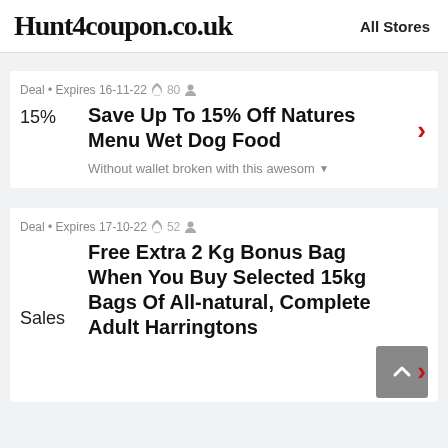Hunt4coupon.co.uk    All Stores
Deal • Expires 16-11-22 🔔 80 👤
Save Up To 15% Off Natures Menu Wet Dog Food
Without wallet broken with this awesom
Deal • Expires 17-10-22 🔔 52 👤
Free Extra 2 Kg Bonus Bag When You Buy Selected 15kg Bags Of All-natural, Complete Adult Harringtons